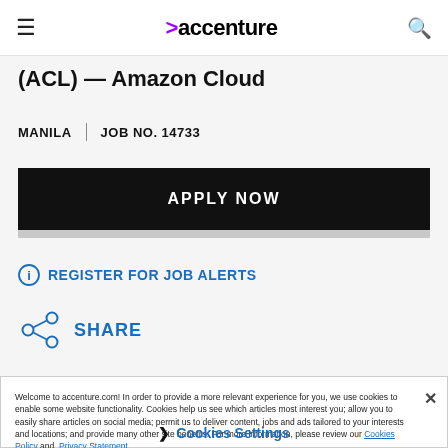accenture
(ACL) — Amazon Cloud
MANILA | JOB NO. 14733
APPLY NOW
REGISTER FOR JOB ALERTS
SHARE
Welcome to accenture.com! In order to provide a more relevant experience for you, we use cookies to enable some website functionality. Cookies help us see which articles most interest you; allow you to easily share articles on social media; permit us to deliver content, jobs and ads tailored to your interests and locations; and provide many other site benefits. For more information, please review our Cookies Policy and Privacy Statement.
Cookies Settings